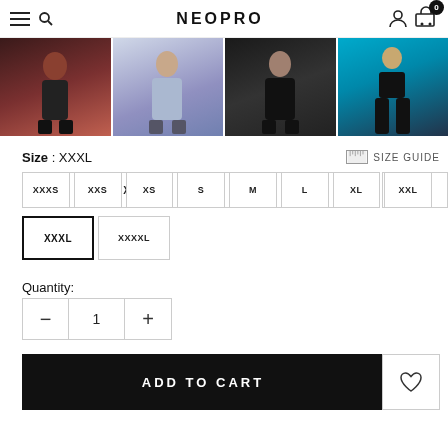NEOPRO
[Figure (photo): Four product thumbnail photos of cyclists wearing cycling apparel, arranged in a horizontal strip]
Size : XXXL
SIZE GUIDE
XXXS
XXS
XS
S
M
L
XL
XXL
XXXL
XXXXL
Quantity:
1
ADD TO CART